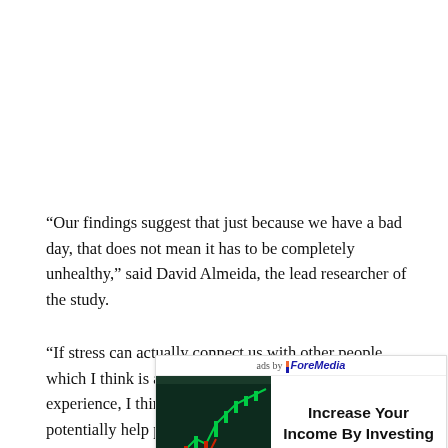“Our findings suggest that just because we have a bad day, that does not mean it has to be completely unhealthy,” said David Almeida, the lead researcher of the study.
“If stress can actually connect us with other people, which I think is absolutely vital to the human experience, I think that is a benefit. Stress could potentially help peop… to be w…
[Figure (other): Advertisement overlay: photo of Bitcoin coins with a green candlestick stock chart in background (dark teal/dark green background), with 'ads by ForeMedia' label and text 'Increase Your Income By Investing Crypto Today!']